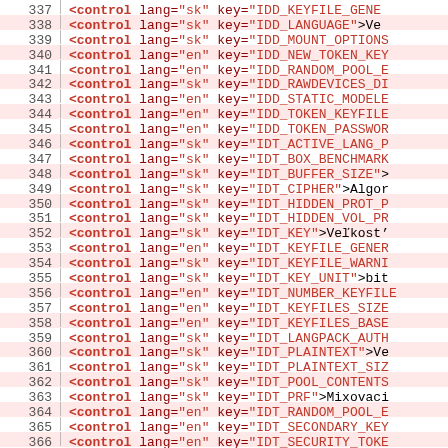[Figure (screenshot): Source code viewer showing XML/markup lines numbered 337-366, each containing control elements with lang and key attributes in red/crimson monospace font on alternating white and light pink background rows.]